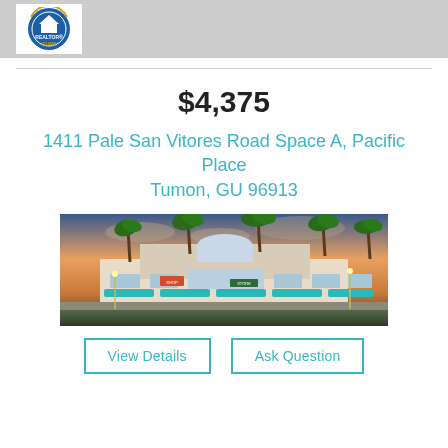[Figure (logo): REALTOR GUAM association logo — circular blue badge with house icon and 'REALTOR' text, 'GUAM' at bottom]
$4,375
1411 Pale San Vitores Road Space A, Pacific Place
Tumon, GU 96913
[Figure (photo): Exterior photo of Pacific Place shopping center at dusk, showing a commercial building with teal-colored awnings, palm trees, and illuminated storefronts]
View Details | Ask Question